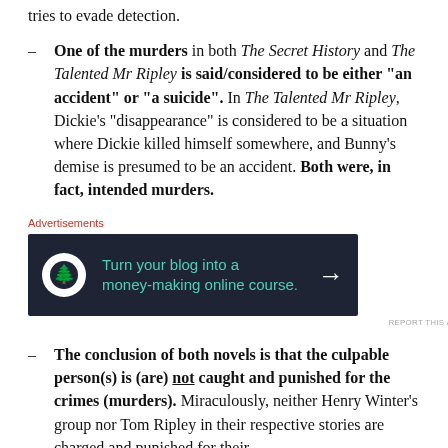tries to evade detection.
One of the murders in both The Secret History and The Talented Mr Ripley is said/considered to be either “an accident” or “a suicide”. In The Talented Mr Ripley, Dickie’s “disappearance” is considered to be a situation where Dickie killed himself somewhere, and Bunny’s demise is presumed to be an accident. Both were, in fact, intended murders.
[Figure (screenshot): Advertisement banner: dark navy background with green text reading 'Turn your blog into a money-making online course.' with an arrow icon and a tree/person logo on the left.]
The conclusion of both novels is that the culpable person(s) is (are) not caught and punished for the crimes (murders). Miraculously, neither Henry Winter’s group nor Tom Ripley in their respective stories are charged and punished for their